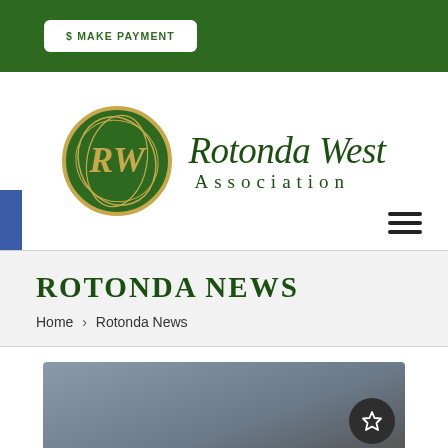$ MAKE PAYMENT
[Figure (logo): Rotonda West Association circular logo with RW monogram in green and gold, with italic serif text 'Rotonda West' and spaced caps 'Association']
ROTONDA NEWS
Home > Rotonda News
[Figure (photo): Partial article preview image showing a grey/muted outdoor scene, with a dark circular star/bookmark button in the lower right corner]